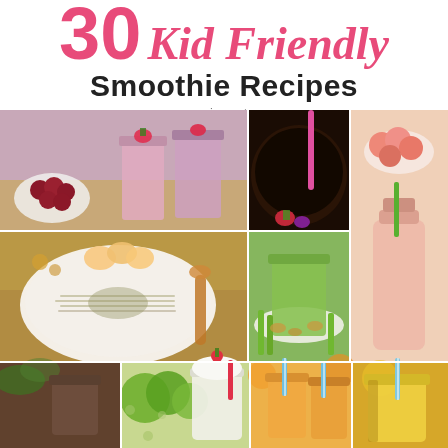30 Kid Friendly Smoothie Recipes
mommyinsports.com
[Figure (photo): Collage of 9 smoothie recipe photos including berry smoothies, chocolate smoothies, peach smoothies, green smoothies, smoothie bowls, and tropical smoothies]